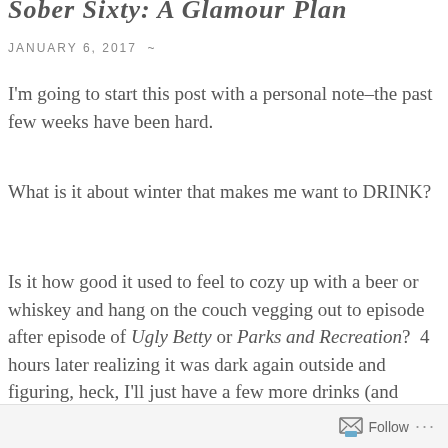Sober Sixty: A Glamour Plan
JANUARY 6, 2017  ~
I'm going to start this post with a personal note–the past few weeks have been hard.
What is it about winter that makes me want to DRINK?
Is it how good it used to feel to cozy up with a beer or whiskey and hang on the couch vegging out to episode after episode of Ugly Betty or Parks and Recreation?  4 hours later realizing it was dark again outside and figuring, heck, I'll just have a few more drinks (and maybe like…a candy bar for dinner with a side of jelly beans?)
Follow